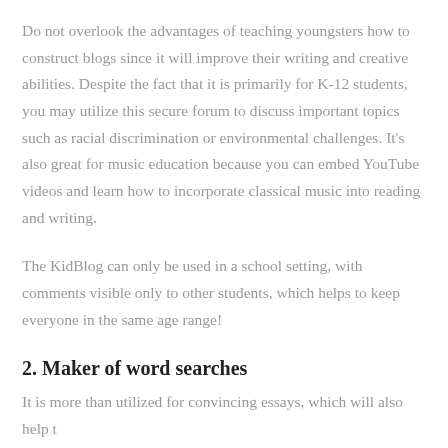Do not overlook the advantages of teaching youngsters how to construct blogs since it will improve their writing and creative abilities. Despite the fact that it is primarily for K-12 students, you may utilize this secure forum to discuss important topics such as racial discrimination or environmental challenges. It's also great for music education because you can embed YouTube videos and learn how to incorporate classical music into reading and writing.
The KidBlog can only be used in a school setting, with comments visible only to other students, which helps to keep everyone in the same age range!
2. Maker of word searches
It is more than utilized for convincing essays, which will also help t...